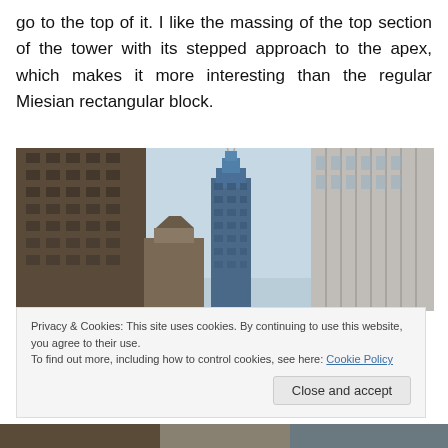go to the top of it. I like the massing of the top section of the tower with its stepped approach to the apex, which makes it more interesting than the regular Miesian rectangular block.
[Figure (photo): Upward-looking photograph of downtown Chicago skyscrapers including the Willis (Sears) Tower with its distinctive stepped silhouette and antenna spires, framed by dark stone buildings on both sides, against a light blue sky.]
Privacy & Cookies: This site uses cookies. By continuing to use this website, you agree to their use.
To find out more, including how to control cookies, see here: Cookie Policy
Close and accept
[Figure (photo): Partial view of city street-level buildings at the bottom of the page.]